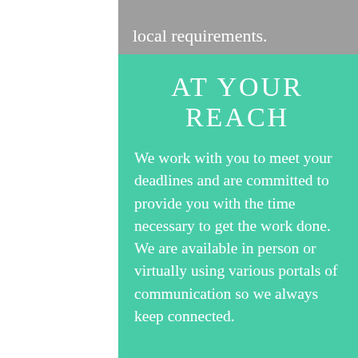local requirements.
AT YOUR REACH
We work with you to meet your deadlines and are committed to provide you with the time necessary to get the work done.  We are available in person or virtually using various portals of communication so we always keep connected.
COMMITMENT
Our commitment is that we provide to you the best of our